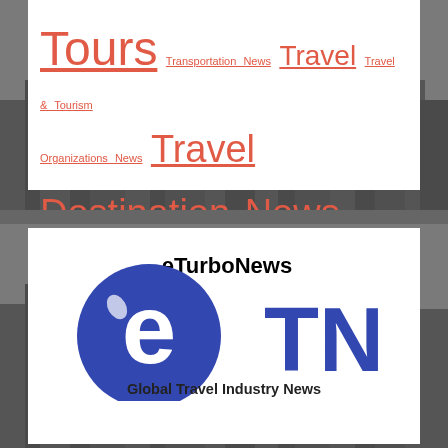Tours Transportation News Travel Travel & Tourism Organizations News Travel Destination News Travelwire News up We were WHO World World News year years
[Figure (logo): eTurboNews eTN Global Travel Industry News logo — blue circle with white 'e' letterform and blue 'TN' letters, with 'eTurboNews' in black above and 'Global Travel Industry News' in bold below]